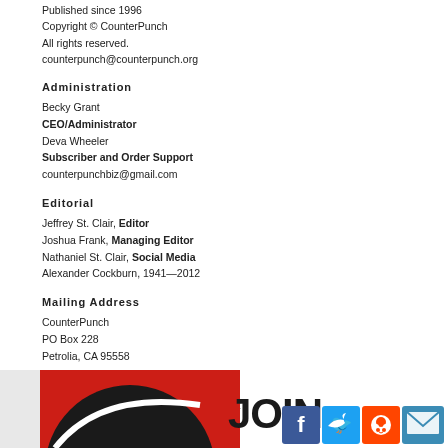Published since 1996
Copyright © CounterPunch
All rights reserved.
counterpunch@counterpunch.org
Administration
Becky Grant
CEO/Administrator
Deva Wheeler
Subscriber and Order Support
counterpunchbiz@gmail.com
Editorial
Jeffrey St. Clair, Editor
Joshua Frank, Managing Editor
Nathaniel St. Clair, Social Media
Alexander Cockburn, 1941—2012
Mailing Address
CounterPunch
PO Box 228
Petrolia, CA 95558
Telephone
Nichole Stephens, Administrative Assistant
1 (707) 629-3683
[Figure (logo): CounterPunch logo (red and black) with JOIN text and social media icons for Facebook, Twitter, Reddit, and Email]